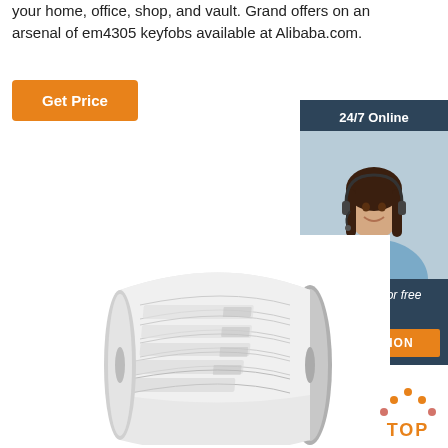your home, office, shop, and vault. Grand offers on an arsenal of em4305 keyfobs available at Alibaba.com.
[Figure (other): Orange 'Get Price' button]
[Figure (other): 24/7 Online chat widget with female agent wearing headset, 'Click here for free chat!' text, and orange QUOTATION button on dark blue background]
[Figure (photo): Roll of white RFID label stickers on a metallic spool]
[Figure (logo): Orange and red TOP badge/logo in bottom right corner]